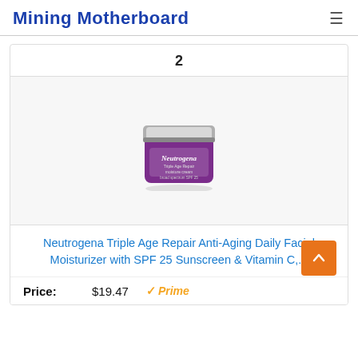Mining Motherboard
2
[Figure (photo): Neutrogena Triple Age Repair facial moisturizer jar with silver lid and purple label]
Neutrogena Triple Age Repair Anti-Aging Daily Facial Moisturizer with SPF 25 Sunscreen & Vitamin C,...
Price: $19.47 ✓Prime